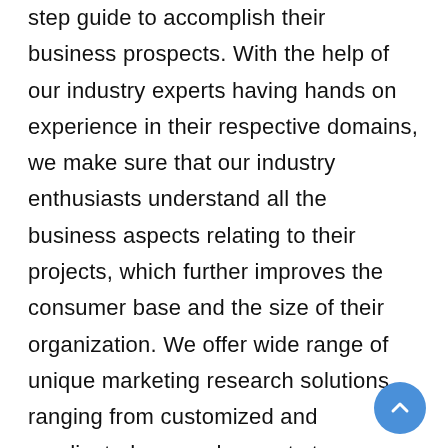step guide to accomplish their business prospects. With the help of our industry experts having hands on experience in their respective domains, we make sure that our industry enthusiasts understand all the business aspects relating to their projects, which further improves the consumer base and the size of their organization. We offer wide range of unique marketing research solutions ranging from customized and syndicated research reports to consulting services, out of which, we update our syndicated research reports annually to make sure that they are modified according to the latest and ever-changing technology and industry insights. This has helped us to carve a niche in delivering